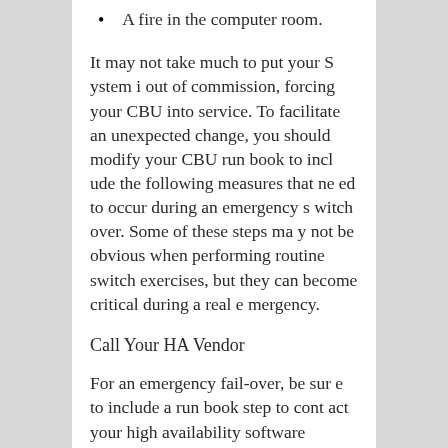A fire in the computer room.
It may not take much to put your System i out of commission, forcing your CBU into service. To facilitate an unexpected change, you should modify your CBU run book to include the following measures that need to occur during an emergency switch over. Some of these steps may not be obvious when performing routine switch exercises, but they can become critical during a real emergency.
Call Your HA Vendor
For an emergency fail-over, be sure to include a run book step to contact your high availability software vendor as soon as possible. If your CBU suddenly takes over processing from a crashed production box, there may be unapplied replication